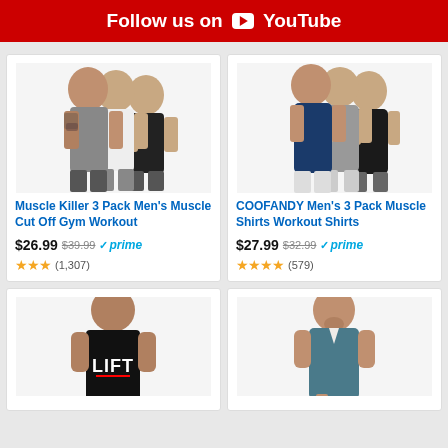Follow us on YouTube
[Figure (photo): Three men wearing gray, white, and black muscle cut-off tank tops]
Muscle Killer 3 Pack Men's Muscle Cut Off Gym Workout
$26.99 $39.99 prime (1,307)
[Figure (photo): Three men wearing navy, gray, and black muscle shirts workout shirts]
COOFANDY Men's 3 Pack Muscle Shirts Workout Shirts
$27.99 $32.99 prime (579)
[Figure (photo): Muscular man wearing black tank top with LIFT text]
[Figure (photo): Muscular man wearing teal/blue v-neck t-shirt]